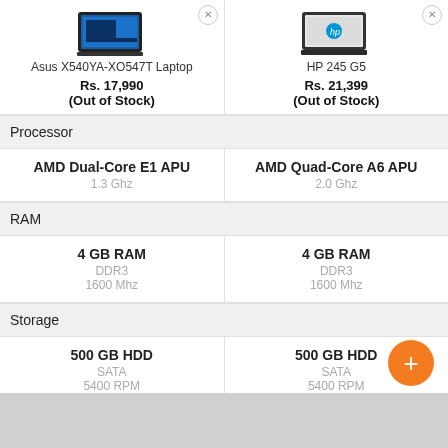Asus X540YA-XO547T Laptop
RS. 17,990 (Out of Stock)
HP 245 G5
Rs. 21,399 (Out of Stock)
Processor
AMD Dual-Core E1 APU
1.3 Ghz
AMD Quad-Core A6 APU
2.0 Ghz
RAM
4 GB RAM
DDR3
1600 Mhz
4 GB RAM
DDR3
1600 Mhz
Storage
500 GB HDD
SATA
5400 RPM
500 GB HDD
SATA
5400 RPM
Display